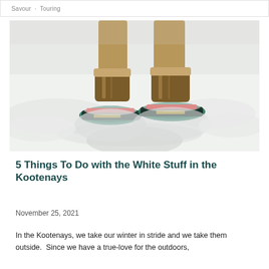Savour · Touring
[Figure (photo): Close-up view from above of a person wearing brown winter boots with colorful modern snowshoes (green, red, black) partially buried in deep white snow.]
5 Things To Do with the White Stuff in the Kootenays
November 25, 2021
In the Kootenays, we take our winter in stride and we take them outside.  Since we have a true-love for the outdoors,